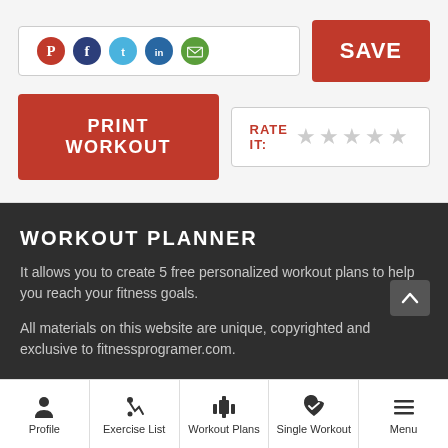[Figure (screenshot): Social sharing buttons row: Pinterest (red circle), Facebook (dark blue circle), Twitter (light blue circle), LinkedIn (dark blue circle), Email (green circle)]
[Figure (screenshot): SAVE button (red), PRINT WORKOUT button (red), RATE IT with star icons (gray)]
WORKOUT PLANNER
It allows you to create 5 free personalized workout plans to help you reach your fitness goals.
All materials on this website are unique, copyrighted and exclusive to fitnessprogramer.com.
[Figure (screenshot): Bottom navigation bar with Profile, Exercise List, Workout Plans, Single Workout, Menu icons]